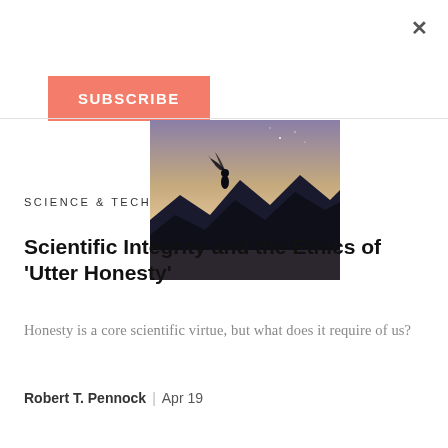×
SUBSCRIBE
[Figure (photo): Silhouette of a person with flowing hair on rocky mountain peaks against a twilight sky with stars visible]
SCIENCE & TECH
Scientific Integrity and the Ethics of 'Utter Honesty'
Honesty is a core scientific virtue, but what does it require of us?
Robert T. Pennock | Apr 19